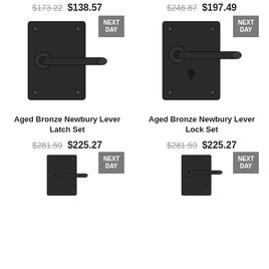$173.22  $138.57
$246.87  $197.49
[Figure (photo): Aged Bronze door lever latch set on a rectangular backplate, no keyhole, dark bronze finish]
[Figure (photo): Aged Bronze door lever lock set on a rectangular backplate, with keyhole visible, dark bronze finish]
Aged Bronze Newbury Lever Latch Set
Aged Bronze Newbury Lever Lock Set
$281.59  $225.27
$281.59  $225.27
[Figure (photo): Aged Bronze door lever latch set on backplate, dark finish, partial view at bottom]
[Figure (photo): Aged Bronze door lever lock set on backplate, dark finish, partial view at bottom]